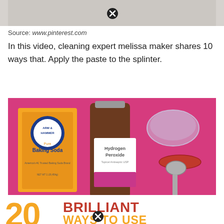[Figure (photo): Top portion of a photo, showing a light-colored surface, with an X/close button overlay]
Source: www.pinterest.com
In this video, cleaning expert melissa maker shares 10 ways that. Apply the paste to the splinter.
[Figure (photo): Photo on a pink background showing Arm & Hammer Pure Baking Soda box, a brown bottle of Hydrogen Peroxide, a glass bowl, a red lid, and a metal measuring spoon]
[Figure (infographic): Bottom banner showing '20 BRILLIANT WAYS TO USE' in orange and red bold text with an X button overlay]